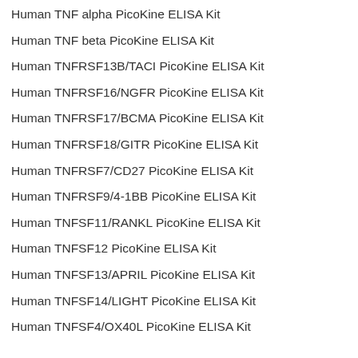Human TNF alpha PicoKine ELISA Kit
Human TNF beta PicoKine ELISA Kit
Human TNFRSF13B/TACI PicoKine ELISA Kit
Human TNFRSF16/NGFR PicoKine ELISA Kit
Human TNFRSF17/BCMA PicoKine ELISA Kit
Human TNFRSF18/GITR PicoKine ELISA Kit
Human TNFRSF7/CD27 PicoKine ELISA Kit
Human TNFRSF9/4-1BB PicoKine ELISA Kit
Human TNFSF11/RANKL PicoKine ELISA Kit
Human TNFSF12 PicoKine ELISA Kit
Human TNFSF13/APRIL PicoKine ELISA Kit
Human TNFSF14/LIGHT PicoKine ELISA Kit
Human TNFSF4/OX40L PicoKine ELISA Kit